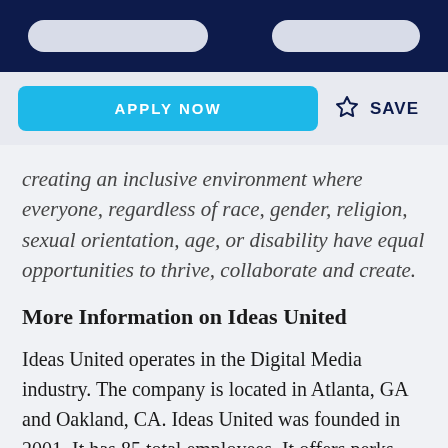APPLY NOW
SAVE
creating an inclusive environment where everyone, regardless of race, gender, religion, sexual orientation, age, or disability have equal opportunities to thrive, collaborate and create.
More Information on Ideas United
Ideas United operates in the Digital Media industry. The company is located in Atlanta, GA and Oakland, CA. Ideas United was founded in 2001. It has 85 total employees. It offers perks and benefits